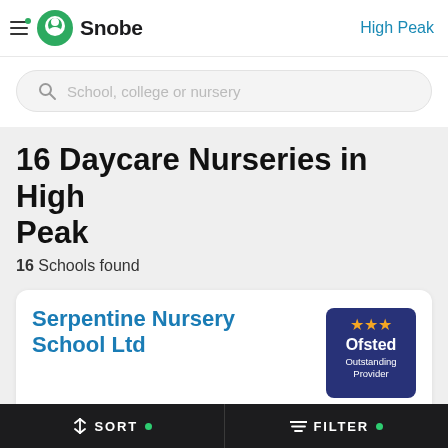Snobe — High Peak
School, college or nursery
16 Daycare Nurseries in High Peak
16 Schools found
Serpentine Nursery School Ltd
High Peak , SK17 9AR
Full Day Care, Open All Year, Sessional Day Care
SORT   FILTER